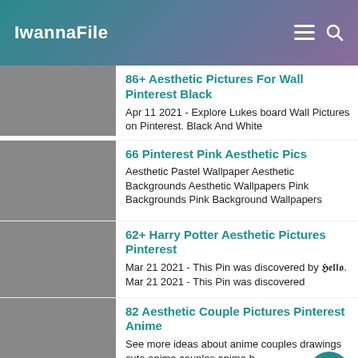IwannaFile
86+ Aesthetic Pictures For Wall Pinterest Black
Apr 11 2021 - Explore Lukes board Wall Pictures on Pinterest. Black And White
66 Pinterest Pink Aesthetic Pics
Aesthetic Pastel Wallpaper Aesthetic Backgrounds Aesthetic Wallpapers Pink Backgrounds Pink Background Wallpapers
62+ Harry Potter Aesthetic Pictures Pinterest
Mar 21 2021 - This Pin was discovered by 𝕳𝖊𝖑𝖑𝖔. Mar 21 2021 - This Pin was discovered
82 Aesthetic Couple Pictures Pinterest Anime
See more ideas about anime couples drawings cute anime couples anime b
20 Grunge Aesthetic Couple Pictures Pinterest